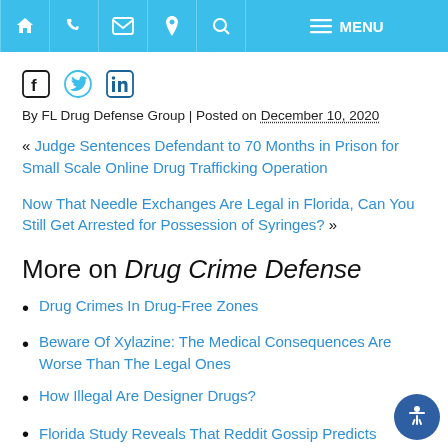Navigation bar with home, phone, email, location, search, menu icons
[Figure (other): Social media icons: Facebook, Twitter, LinkedIn]
By FL Drug Defense Group | Posted on December 10, 2020
« Judge Sentences Defendant to 70 Months in Prison for Small Scale Online Drug Trafficking Operation
Now That Needle Exchanges Are Legal in Florida, Can You Still Get Arrested for Possession of Syringes? »
More on Drug Crime Defense
Drug Crimes In Drug-Free Zones
Beware Of Xylazine: The Medical Consequences Are Worse Than The Legal Ones
How Illegal Are Designer Drugs?
Florida Study Reveals That Reddit Gossip Predicts...